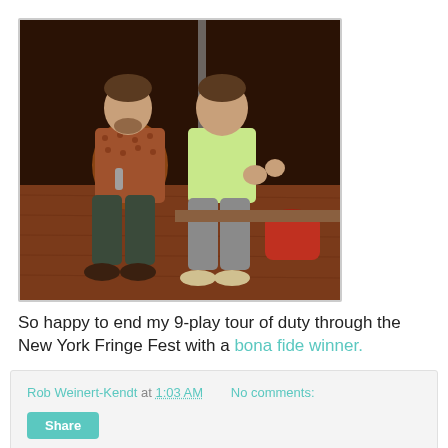[Figure (photo): Two men sitting on a stage floor. The man on the left wears a patterned brown shirt and dark jeans, holding a bottle. The man on the right wears a light green polo shirt and grey pants. There is a red bag behind them. The stage floor is wood-colored.]
So happy to end my 9-play tour of duty through the New York Fringe Fest with a bona fide winner.
Rob Weinert-Kendt at 1:03 AM     No comments:
Share